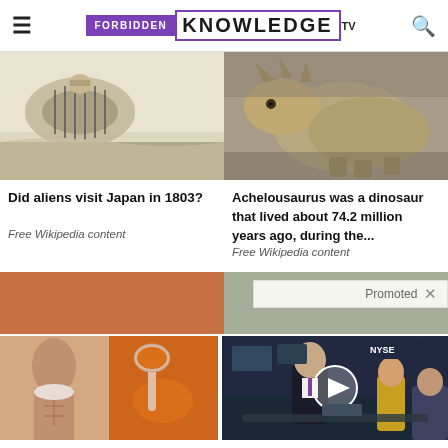Forbidden Knowledge TV
[Figure (screenshot): Partial image of Japanese illustration (alien/UFO art)]
Did aliens visit Japan in 1803?
Free Wikipedia content
[Figure (photo): Photo of Achelousaurus dinosaur statue/model]
Achelousaurus was a dinosaur that lived about 74.2 million years ago, during the...
Free Wikipedia content
Promoted ×
[Figure (photo): Ad image: Woman showing abs and spice in a spoon (belly fat ad)]
Just 1 Teaspoon Burns Belly Fat Like Crazy!
Find Out More
[Figure (screenshot): Ad video thumbnail: Man at NYSE studio with play button overlay]
Biden Likely Wants This Video ERASED — Possible Changes To US Dollar Revealed
Watch The Video